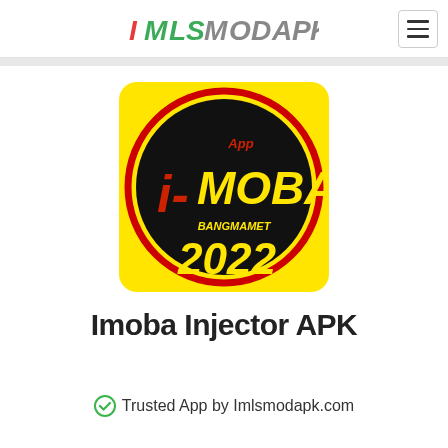IMLSMODAPK
[Figure (logo): i-MOBA Bangmamet 2022 app icon on yellow background with black circle and red/yellow stylized text]
Imoba Injector APK
✅ Trusted App by Imlsmodapk.com